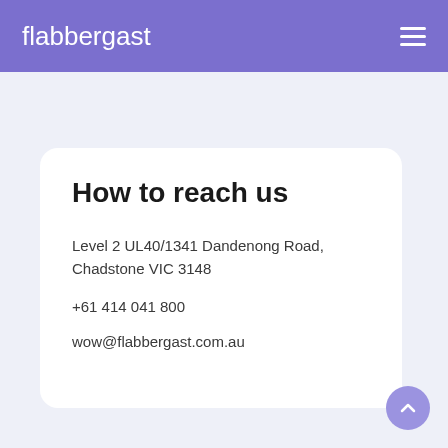flabbergast
How to reach us
Level 2 UL40/1341 Dandenong Road, Chadstone VIC 3148
+61 414 041 800
wow@flabbergast.com.au